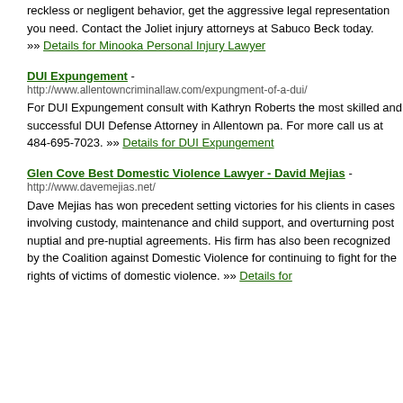reckless or negligent behavior, get the aggressive legal representation you need. Contact the Joliet injury attorneys at Sabuco Beck today. »» Details for Minooka Personal Injury Lawyer
DUI Expungement - http://www.allentowncriminallaw.com/expungment-of-a-dui/ For DUI Expungement consult with Kathryn Roberts the most skilled and successful DUI Defense Attorney in Allentown pa. For more call us at 484-695-7023. »» Details for DUI Expungement
Glen Cove Best Domestic Violence Lawyer - David Mejias - http://www.davemejias.net/ Dave Mejias has won precedent setting victories for his clients in cases involving custody, maintenance and child support, and overturning post nuptial and pre-nuptial agreements. His firm has also been recognized by the Coalition against Domestic Violence for continuing to fight for the rights of victims of domestic violence. »» Details for